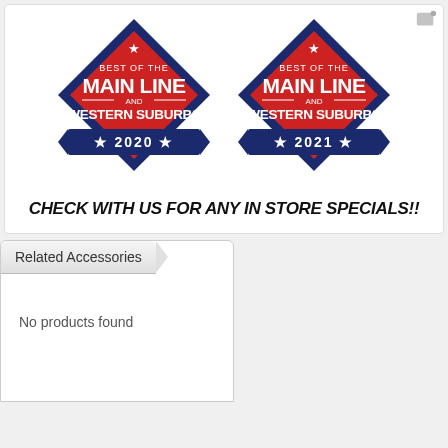[Figure (logo): Two diamond-shaped badges: Best of the Main Line and Western Suburbs 2020 and 2021, red with navy blue banners]
CHECK WITH US FOR ANY IN STORE SPECIALS!!
Related Accessories
No products found